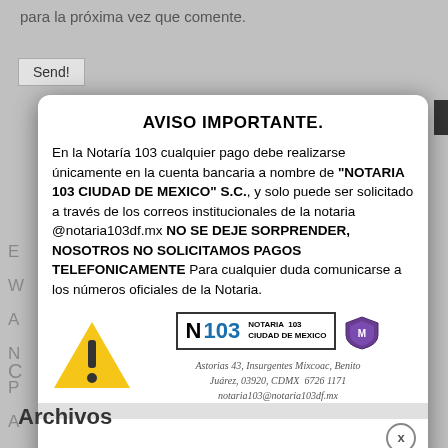para la próxima vez que comente.
[Figure (screenshot): Send! button on a gray web page background]
AVISO IMPORTANTE.
En la Notaría 103 cualquier pago debe realizarse únicamente en la cuenta bancaria a nombre de "NOTARIA 103 CIUDAD DE MEXICO" S.C., y solo puede ser solicitado a través de los correos institucionales de la notaria @notaria103df.mx NO SE DEJE SORPRENDER, NOSOTROS NO SOLICITAMOS PAGOS TELEFONICAMENTE Para cualquier duda comunicarse a los números oficiales de la Notaria.
[Figure (logo): Warning triangle icon with exclamation mark, and Notaria 103 Ciudad de Mexico logo with shield emblem. Address: Astorias 43, Insurgentes Mixcoac, Benito Juárez, 03920, CDMX 6726 1171. notaria103@notaria103df.mx]
Archivos